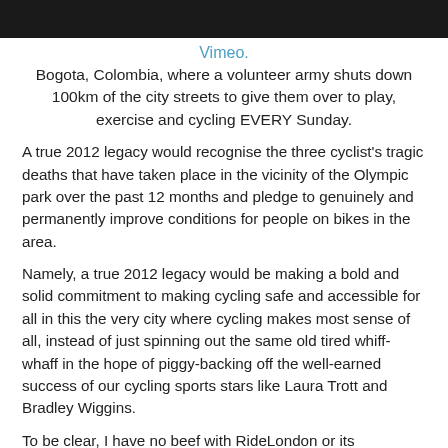[Figure (photo): Dark/black bar at top of page, partial image]
Vimeo.
Bogota, Colombia, where a volunteer army shuts down 100km of the city streets to give them over to play, exercise and cycling EVERY Sunday.
A true 2012 legacy would recognise the three cyclist's tragic deaths that have taken place in the vicinity of the Olympic park over the past 12 months and pledge to genuinely and permanently improve conditions for people on bikes in the area.
Namely, a true 2012 legacy would be making a bold and solid commitment to making cycling safe and accessible for all in this the very city where cycling makes most sense of all, instead of just spinning out the same old tired whiff-whaff in the hope of piggy-backing off the well-earned success of our cycling sports stars like Laura Trott and Bradley Wiggins.
To be clear, I have no beef with RideLondon or its organisers and I think it will be a wonderful opportunity for many people and I think it will be a wonderful opportunity for many people